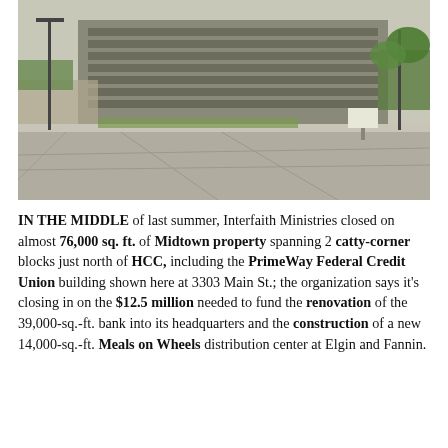[Figure (photo): Exterior photo of a large parking lot in the foreground with a multi-story commercial/institutional building in the background surrounded by trees and fencing.]
IN THE MIDDLE of last summer, Interfaith Ministries closed on almost 76,000 sq. ft. of Midtown property spanning 2 catty-corner blocks just north of HCC, including the PrimeWay Federal Credit Union building shown here at 3303 Main St.; the organization says it's closing in on the $12.5 million needed to fund the renovation of the 39,000-sq.-ft. bank into its headquarters and the construction of a new 14,000-sq.-ft. Meals on Wheels distribution center at Elgin and Fannin.